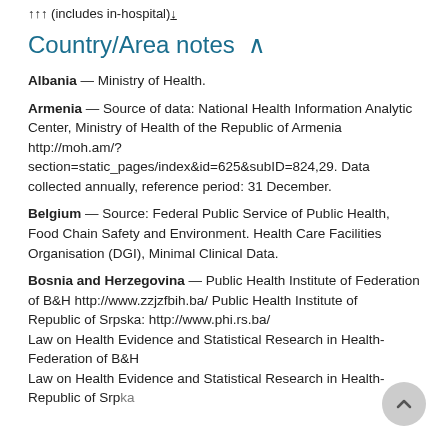↑↑↑ (includes in-hospital)↓
Country/Area notes ∧
Albania — Ministry of Health.
Armenia — Source of data: National Health Information Analytic Center, Ministry of Health of the Republic of Armenia http://moh.am/?section=static_pages/index&id=625&subID=824,29. Data collected annually, reference period: 31 December.
Belgium — Source: Federal Public Service of Public Health, Food Chain Safety and Environment. Health Care Facilities Organisation (DGI), Minimal Clinical Data.
Bosnia and Herzegovina — Public Health Institute of Federation of B&H http://www.zzjzfbih.ba/ Public Health Institute of Republic of Srpska: http://www.phi.rs.ba/ Law on Health Evidence and Statistical Research in Health-Federation of B&H Law on Health Evidence and Statistical Research in Health-Republic of Srpska